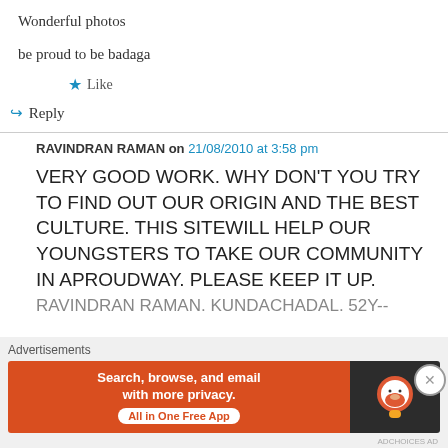Wonderful photos
be proud to be badaga
★ Like
↪ Reply
RAVINDRAN RAMAN on 21/08/2010 at 3:58 pm
VERY GOOD WORK. WHY DON'T YOU TRY TO FIND OUT OUR ORIGIN AND THE BEST CULTURE. THIS SITEWILL HELP OUR YOUNGSTERS TO TAKE OUR COMMUNITY IN APROUDWAY. PLEASE KEEP IT UP.
RAVINDRAN RAMAN. KUNDACHADAL. 52Y--
Advertisements
[Figure (screenshot): DuckDuckGo advertisement banner: orange section with text 'Search, browse, and email with more privacy. All in One Free App', dark section with DuckDuckGo duck logo]